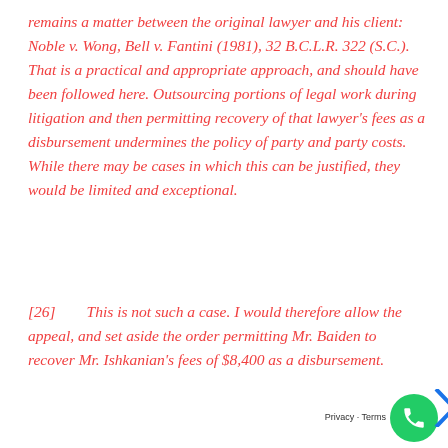remains a matter between the original lawyer and his client: Noble v. Wong, Bell v. Fantini (1981), 32 B.C.L.R. 322 (S.C.). That is a practical and appropriate approach, and should have been followed here. Outsourcing portions of legal work during litigation and then permitting recovery of that lawyer's fees as a disbursement undermines the policy of party and party costs. While there may be cases in which this can be justified, they would be limited and exceptional.
[26]        This is not such a case. I would therefore allow the appeal, and set aside the order permitting Mr. Baiden to recover Mr. Ishkanian's fees of $8,400 as a disbursement.